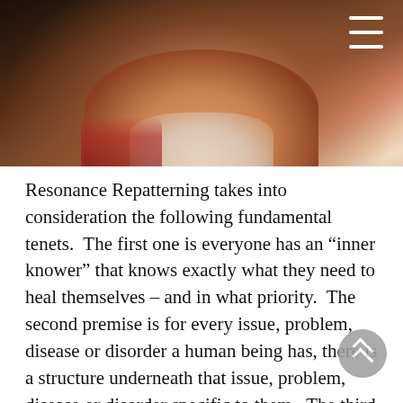[Figure (photo): Partial photo of a person, mostly cropped, with dark background. A hamburger menu icon (three white horizontal lines) is visible in the upper right corner.]
Resonance Repatterning takes into consideration the following fundamental tenets.  The first one is everyone has an “inner knower” that knows exactly what they need to heal themselves – and in what priority.  The second premise is for every issue, problem, disease or disorder a human being has, there is a structure underneath that issue, problem, disease or disorder specific to them.  The third premise is if we can find the structure of anything, we can switch it.  Resonance Repatterning is a process uncovering that structure.  And, since the structure is specific to the individual, the healing modalities used to switch the structure are also specific to the individual and their structure.